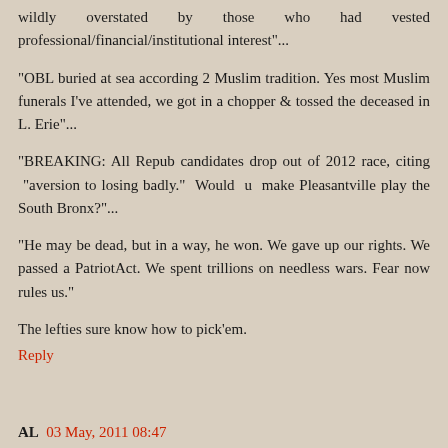wildly overstated by those who had vested professional/financial/institutional interest"...
"OBL buried at sea according 2 Muslim tradition. Yes most Muslim funerals I've attended, we got in a chopper & tossed the deceased in L. Erie"...
"BREAKING: All Repub candidates drop out of 2012 race, citing "aversion to losing badly." Would u make Pleasantville play the South Bronx?"...
"He may be dead, but in a way, he won. We gave up our rights. We passed a PatriotAct. We spent trillions on needless wars. Fear now rules us."
The lefties sure know how to pick'em.
Reply
AL 03 May, 2011 08:47
Moore like many liberals does not understand main stream